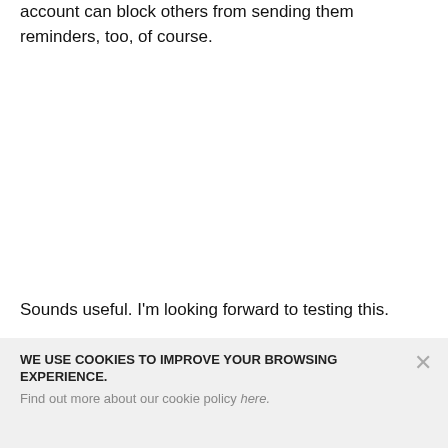account can block others from sending them reminders, too, of course.
Sounds useful. I'm looking forward to testing this.
WE USE COOKIES TO IMPROVE YOUR BROWSING EXPERIENCE.
Find out more about our cookie policy here.